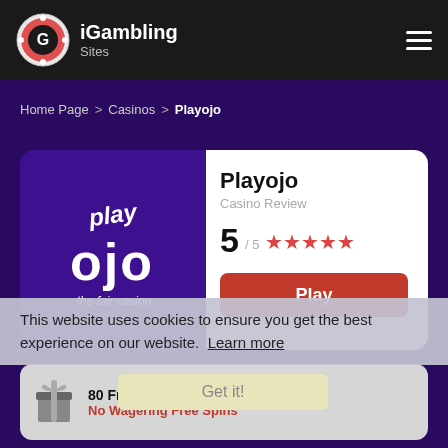iGambling Sites
Home Page > Casinos > Playojo
[Figure (logo): PlayOjo casino logo — play ojo text with circular letters on purple background, 'the fair casino' tagline]
Playojo
Casino Review
5 / 5 ★★★★★
Play
This website uses cookies to ensure you get the best experience on our website.  Learn more
80 Free Spins on First Deposit
No Wagering Free Spins
Get it!